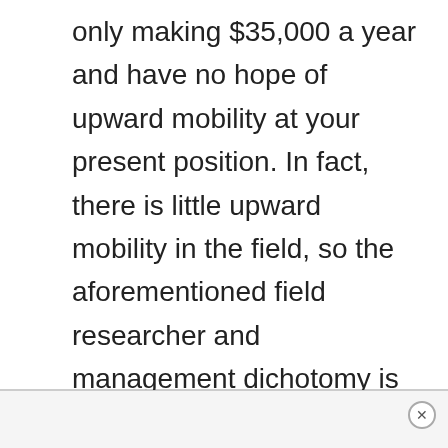only making $35,000 a year and have no hope of upward mobility at your present position. In fact, there is little upward mobility in the field, so the aforementioned field researcher and management dichotomy is all that is available to most career Marine Biologists. It is one reason many people who enter the field use an alternative college major such as Environmental Science to test the waters.